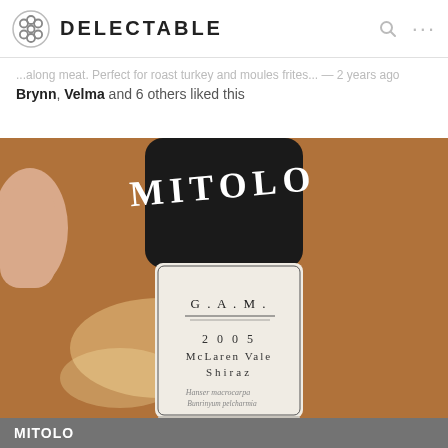DELECTABLE
Brynn, Velma and 6 others liked this
[Figure (photo): Photo of a Mitolo G.A.M. 2005 McLaren Vale Shiraz wine bottle being held, showing the black capsule and white label with text: G.A.M., 2005, McLaren Vale, Shiraz. Warm brown background.]
MITOLO